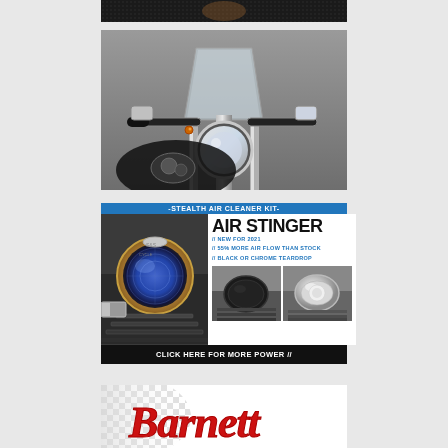[Figure (photo): Dark textured background strip at top, partially visible]
[Figure (photo): Motorcycle front view with windshield, handlebars, headlight, and turn signal against gray background]
[Figure (infographic): Air Stinger Stealth Air Cleaner Kit advertisement with motorcycle engine photos, blue header bar, and black call-to-action bar]
[Figure (logo): Barnett logo in red script lettering on white/checkered background]